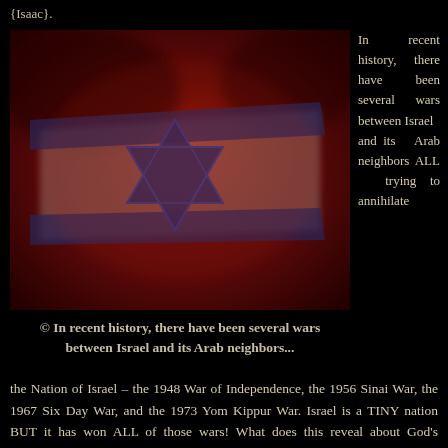{Isaac}.
[Figure (photo): Israeli flag with Star of David, bathed in red and dark atmospheric lighting]
© In recent history, there have been several wars between Israel and its Arab neighbors...
In recent history, there have been several wars between Israel and its Arab neighbors ALL trying to annihilate the Nation of Israel – the 1948 War of Independence, the 1956 Sinai War, the 1967 Six Day War, and the 1973 Yom Kippur War. Israel is a TINY nation BUT it has won ALL of those wars! What does this reveal about God's Sovereignty over Israel and the other nations who fought against her? But that still does NOT detour them from continuing to try